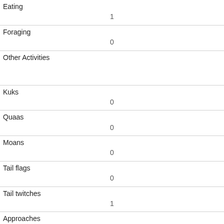| Activity/Behavior | Count |
| --- | --- |
| Eating | 1 |
| Foraging | 0 |
| Other Activities |  |
| Kuks | 0 |
| Quaas | 0 |
| Moans | 0 |
| Tail flags | 0 |
| Tail twitches | 1 |
| Approaches | 1 |
| Indifferent | 0 |
| Runs from |  |